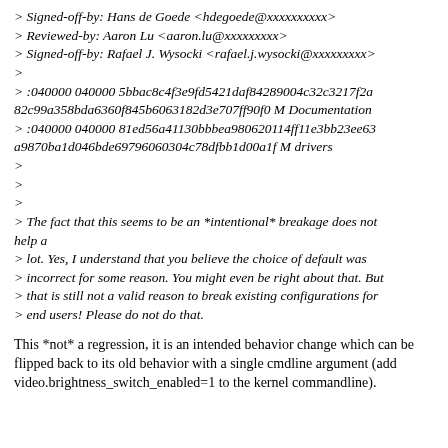> Signed-off-by: Hans de Goede <hdegoede@xxxxxxxxxx>
> Reviewed-by: Aaron Lu <aaron.lu@xxxxxxxxx>
> Signed-off-by: Rafael J. Wysocki <rafael.j.wysocki@xxxxxxxxx>
>
> :040000 040000 5bbac8c4f3e9fd5421daf84289004c32c3217f2a 82c99a358bda6360f845b6063182d3e707ff90f0 M Documentation
> :040000 040000 81ed56a41130bbbea980620114ff11e3bb23ee63 a9870ba1d046bde69796060304c78dfbb1d00a1f M drivers
>
>
>
> The fact that this seems to be an *intentional* breakage does not help a
> lot. Yes, I understand that you believe the choice of default was
> incorrect for some reason. You might even be right about that. But
> that is still not a valid reason to break existing configurations for
> end users! Please do not do that.
This *not* a regression, it is an intended behavior change which can be flipped back to its old behavior with a single cmdline argument (add video.brightness_switch_enabled=1 to the kernel commandline).